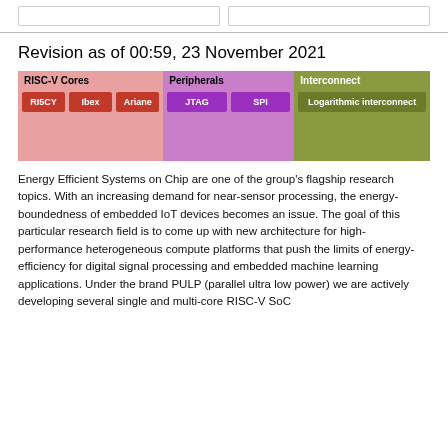Revision as of 00:59, 23 November 2021
[Figure (schematic): Block diagram showing RISC-V SoC architecture with three sections: RISC-V Cores (RI5CY, Ibex, Ariane), Peripherals (JTAG, SPI), and Interconnect (Logarithmic interconnect)]
Energy Efficient Systems on Chip are one of the group's flagship research topics. With an increasing demand for near-sensor processing, the energy-boundedness of embedded IoT devices becomes an issue. The goal of this particular research field is to come up with new architecture for high-performance heterogeneous compute platforms that push the limits of energy-efficiency for digital signal processing and embedded machine learning applications. Under the brand PULP (parallel ultra low power) we are actively developing several single and multi-core RISC-V SoC